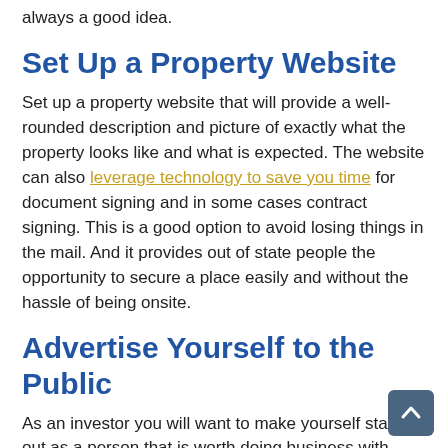always a good idea.
Set Up a Property Website
Set up a property website that will provide a well-rounded description and picture of exactly what the property looks like and what is expected. The website can also leverage technology to save you time for document signing and in some cases contract signing. This is a good option to avoid losing things in the mail. And it provides out of state people the opportunity to secure a place easily and without the hassle of being onsite.
Advertise Yourself to the Public
As an investor you will want to make yourself stand out as a person that is worth doing business with. Provide details